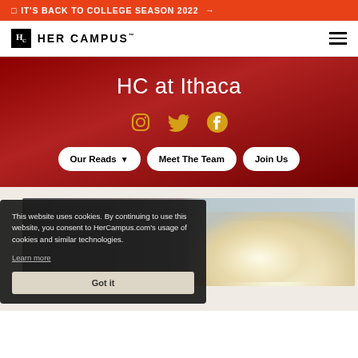IT'S BACK TO COLLEGE SEASON 2022 →
[Figure (logo): Her Campus logo with HC monogram box and text HER CAMPUS]
HC at Ithaca
[Figure (infographic): Social media icons: Instagram, Twitter, Facebook in gold/yellow color]
Our Reads ▾   Meet The Team   Join Us
[Figure (photo): Partially visible article image showing popcorn against a light blue-gray background]
This website uses cookies. By continuing to use this website, you consent to HerCampus.com's usage of cookies and similar technologies. Learn more
Got it